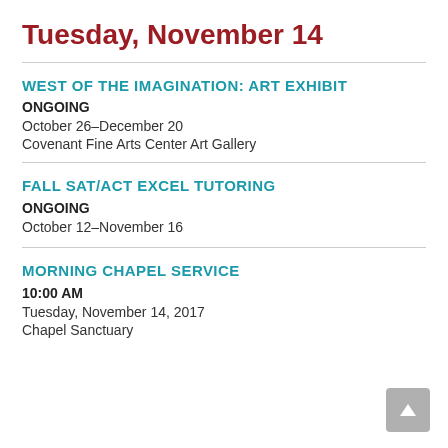Tuesday, November 14
WEST OF THE IMAGINATION: ART EXHIBIT
ONGOING
October 26–December 20
Covenant Fine Arts Center Art Gallery
FALL SAT/ACT EXCEL TUTORING
ONGOING
October 12–November 16
MORNING CHAPEL SERVICE
10:00 AM
Tuesday, November 14, 2017
Chapel Sanctuary